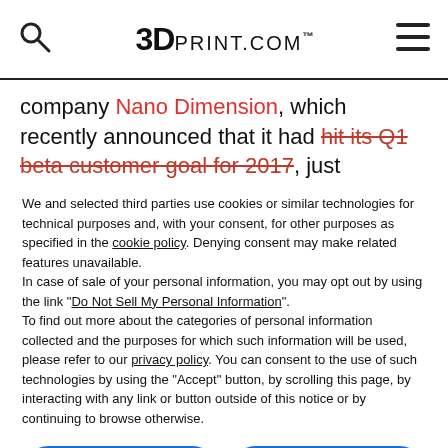3DPrint.com
company Nano Dimension, which recently announced that it had hit its Q1 beta customer goal for 2017, just
We and selected third parties use cookies or similar technologies for technical purposes and, with your consent, for other purposes as specified in the cookie policy. Denying consent may make related features unavailable.
In case of sale of your personal information, you may opt out by using the link "Do Not Sell My Personal Information".
To find out more about the categories of personal information collected and the purposes for which such information will be used, please refer to our privacy policy. You can consent to the use of such technologies by using the "Accept" button, by scrolling this page, by interacting with any link or button outside of this notice or by continuing to browse otherwise.
Reject
Accept
Learn more and customize